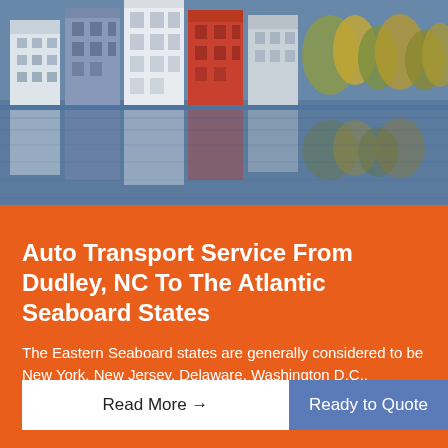[Figure (photo): Colorful waterfront buildings reflected in calm water — boathouses or harbor houses with red, white, and blue colors reflected in the water below, with trees and foliage visible.]
Auto Transport Service From Dudley, NC To The Atlantic Seaboard States
The Eastern Seaboard states are generally considered to be New York, New Jersey, Delaware, Washington D.C., Maryland…